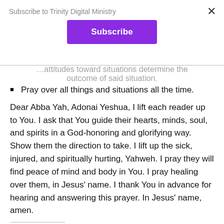Subscribe to Trinity Digital Ministry
Subscribe (button)
…attitudes toward situations determine the outcome of said situation.
Pray over all things and situations all the time.
Dear Abba Yah, Adonai Yeshua, I lift each reader up to You. I ask that You guide their hearts, minds, soul, and spirits in a God-honoring and glorifying way. Show them the direction to take. I lift up the sick, injured, and spiritually hurting, Yahweh. I pray they will find peace of mind and body in You. I pray healing over them, in Jesus' name. I thank You in advance for hearing and answering this prayer. In Jesus' name, amen.
Share this: